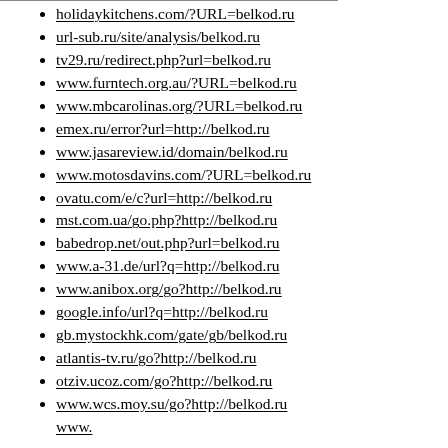holidaykitchens.com/?URL=belkod.ru
url-sub.ru/site/analysis/belkod.ru
tv29.ru/redirect.php?url=belkod.ru
www.furntech.org.au/?URL=belkod.ru
www.mbcarolinas.org/?URL=belkod.ru
emex.ru/error?url=http://belkod.ru
www.jasareview.id/domain/belkod.ru
www.motosdavins.com/?URL=belkod.ru
ovatu.com/e/c?url=http://belkod.ru
mst.com.ua/go.php?http://belkod.ru
babedrop.net/out.php?url=belkod.ru
www.a-31.de/url?q=http://belkod.ru
www.anibox.org/go?http://belkod.ru
google.info/url?q=http://belkod.ru
gb.mystockhk.com/gate/gb/belkod.ru
atlantis-tv.ru/go?http://belkod.ru
otziv.ucoz.com/go?http://belkod.ru
www.wcs.moy.su/go?http://belkod.ru
www. xxx.ru/go?http://belkod.ru